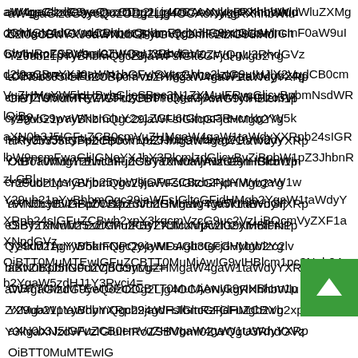aW4gaGlzdG9yeQozODg2Ljg4OCAoNykgRXhhbWluZXMgdGhlIGV4dGVudCBhbmQgbmF0dXJlIG9mIGltbWlncmF0aW9uIGluIHRoZSBVbml0ZWQgU3RhdGVzLCB3aXRoIHBhcnRpY3VsYXIgZW1waGFzaXMgb24gcmVjZW50IHRyZW5kcyBhbmQgcG9saWN5IGlzc3Vlcy4gVG9waWNzIGluY2x1ZGU6IGhpc3RvcnkgYW5kIHRyZW5kcyBpbiBpbW1pZ3JhdGlvbiwgZGVtb2dyYXBoaWMgY2hhcmFjdGVyaXN0aWNzIG9mIGltbWlncmFudHMsIGVjb25vbWljIGFuZCBzb2NpYWwgaW1wYWN0cyBvZiBpbW1pZ3JhdGlvbiwgYW5kIHBvbGljeSByZXNwb25zZXMuIFByZXJlcXVpc2l0ZXM6IFNPQy4xMTAgYW5kIFNPQy4yMDAgb3IgcGVybWlzc2lvbiBvZiBpbnN0cnVjdG9yLg==
[Figure (other): Green square button with white upward arrow chevron, positioned at bottom-right of the page (scroll-to-top UI element)]